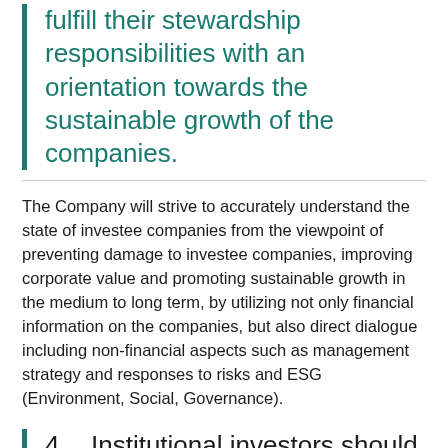fulfill their stewardship responsibilities with an orientation towards the sustainable growth of the companies.
The Company will strive to accurately understand the state of investee companies from the viewpoint of preventing damage to investee companies, improving corporate value and promoting sustainable growth in the medium to long term, by utilizing not only financial information on the companies, but also direct dialogue including non-financial aspects such as management strategy and responses to risks and ESG (Environment, Social, Governance).
4. Institutional investors should seek to arrive at an understanding in common